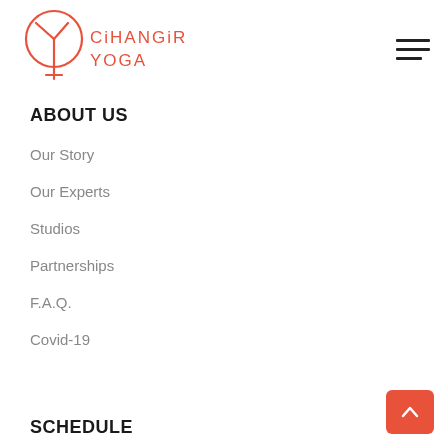[Figure (logo): Cihangir Yoga logo: a stylized Y inside a circle in coral/salmon color, with text 'CiHANGiR YOGA' in coral color to the right]
[Figure (other): Hamburger menu icon (three horizontal lines) in top right corner]
ABOUT US
Our Story
Our Experts
Studios
Partnerships
F.A.Q.
Covid-19
SCHEDULE